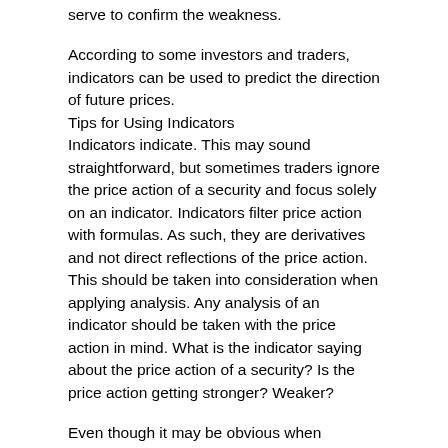serve to confirm the weakness.
According to some investors and traders, indicators can be used to predict the direction of future prices.
Tips for Using Indicators
Indicators indicate. This may sound straightforward, but sometimes traders ignore the price action of a security and focus solely on an indicator. Indicators filter price action with formulas. As such, they are derivatives and not direct reflections of the price action. This should be taken into consideration when applying analysis. Any analysis of an indicator should be taken with the price action in mind. What is the indicator saying about the price action of a security? Is the price action getting stronger? Weaker?
Even though it may be obvious when indicators generate buy and sell signals, the signals should be taken in context with other technical analysis tools. An indicator may flash a buy signal, but if the chart pattern shows a descending triangle with a series of declining peaks, it may be a false signal.
On the Rambus (RMBS) chart, MACD improved from November to March, forming a positive divergence. All the